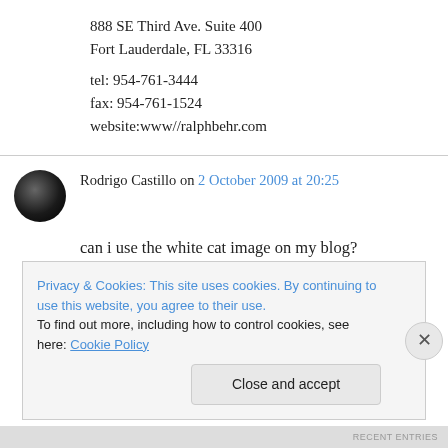888 SE Third Ave. Suite 400
Fort Lauderdale, FL 33316
tel: 954-761-3444
fax: 954-761-1524
website:www//ralphbehr.com
Rodrigo Castillo on 2 October 2009 at 20:25
can i use the white cat image on my blog?
Privacy & Cookies: This site uses cookies. By continuing to use this website, you agree to their use.
To find out more, including how to control cookies, see here: Cookie Policy
Close and accept